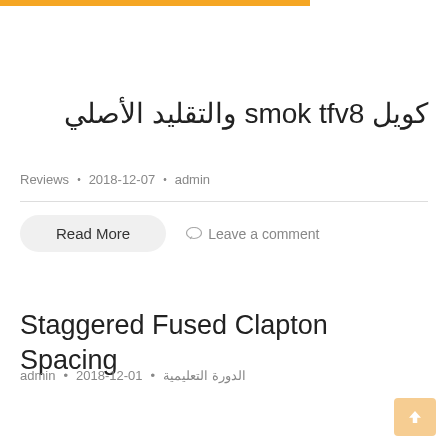كويل smok tfv8 والتقليد الأصلي
Reviews • 2018-12-07 • admin
Read More   ○ Leave a comment
Staggered Fused Clapton Spacing
الدورة التعليمية • 2018-12-01 • admin